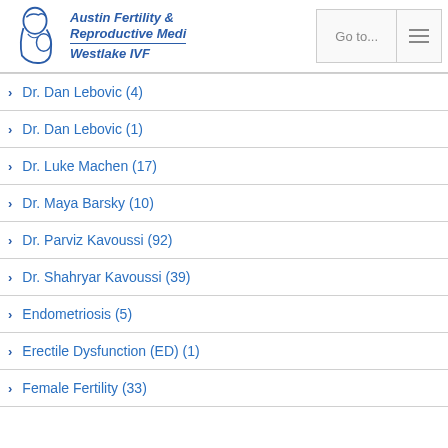Austin Fertility & Reproductive Medicine Westlake IVF
Dr. Dan Lebovic (4)
Dr. Dan Lebovic (1)
Dr. Luke Machen (17)
Dr. Maya Barsky (10)
Dr. Parviz Kavoussi (92)
Dr. Shahryar Kavoussi (39)
Endometriosis (5)
Erectile Dysfunction (ED) (1)
Female Fertility (33)